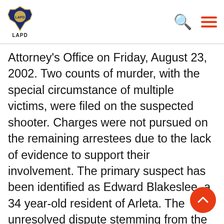LAPD
Attorney's Office on Friday, August 23, 2002. Two counts of murder, with the special circumstance of multiple victims, were filed on the suspected shooter. Charges were not pursued on the remaining arrestees due to the lack of evidence to support their involvement. The primary suspect has been identified as Edward Blakeslee, a 34 year-old resident of Arleta. The unresolved dispute stemming from the Northridge restaurant altercation appears to have been the motive for the subsequent double slaying. Blakeslee remains in the custody of the Los Angeles County Sheriff's Department without bail. This press release was prepared by Public Information Officer Jason Lee, Media Relations Section, 213-